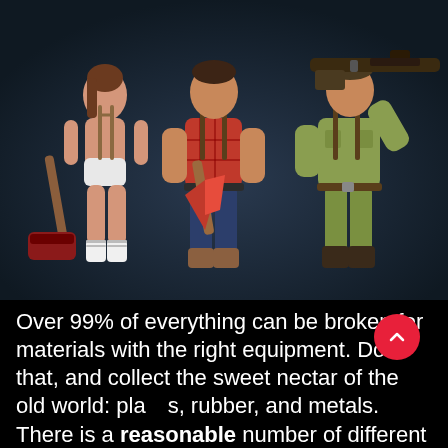[Figure (illustration): Three 3D game character models against a dark blue-grey background. Left: a female character in white briefs and socks holding a large red sledgehammer. Center: a male character in a red plaid shirt, jeans, and boots holding an axe with a red head. Right: a male character in a yellow-green military outfit holding a large gun/rifle over his shoulder.]
Over 99% of everything can be broken for materials with the right equipment. Do that, and collect the sweet nectar of the old world: plastics, rubber, and metals. There is a reasonable number of different